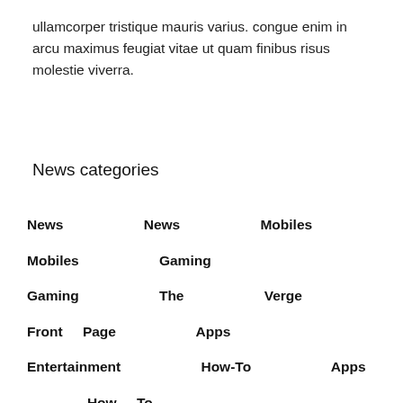ullamcorper tristique mauris varius. congue enim in arcu maximus feugiat vitae ut quam finibus risus molestie viverra.
News categories
News   News   Mobiles   Mobiles   Gaming
Gaming   The   Verge   Front Page   Apps
Entertainment   How-To   Apps   How To
Tech News   Deals   Best-Deals   Wearables
Games   Features   Tech   Features   Telecom
Apple   Wearables